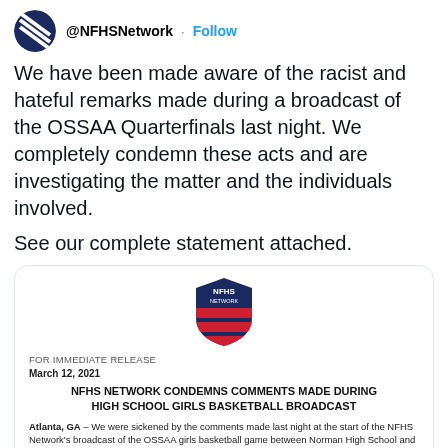[Figure (logo): NFHS Network circular avatar icon with diagonal stripes]
@NFHSNetwork · Follow
We have been made aware of the racist and hateful remarks made during a broadcast of the OSSAA Quarterfinals last night. We completely condemn these acts and are investigating the matter and the individuals involved.

See our complete statement attached.
[Figure (screenshot): NFHS Network press release card with logo, FOR IMMEDIATE RELEASE header, date March 12 2021, headline NFHS NETWORK CONDEMNS COMMENTS MADE DURING HIGH SCHOOL GIRLS BASKETBALL BROADCAST, and body text beginning Atlanta GA - We were sickened by the comments made last night...]